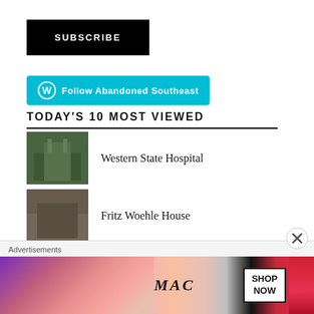[Figure (other): Black SUBSCRIBE button]
[Figure (other): Cyan Follow Abandoned Southeast WordPress button]
TODAY'S 10 MOST VIEWED
Western State Hospital
Fritz Woehle House
Century Funeral Home
Nolan Plantation (partially visible)
Advertisements
[Figure (other): MAC cosmetics advertisement with lipsticks and SHOP NOW button]